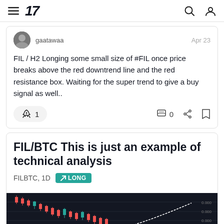TradingView navigation bar
gaatawaa
Apr 23
FIL / H2 Longing some small size of #FIL once price breaks above the red downtrend line and the red resistance box. Waiting for the super trend to give a buy signal as well..
🚀 1  0
FIL/BTC This is just an example of technical analysis
FILBTC, 1D  ↗ LONG
[Figure (screenshot): Candlestick chart preview of FILBTC on 1D timeframe showing a downward trend with price around 0.000 range and a projected upward arrow]